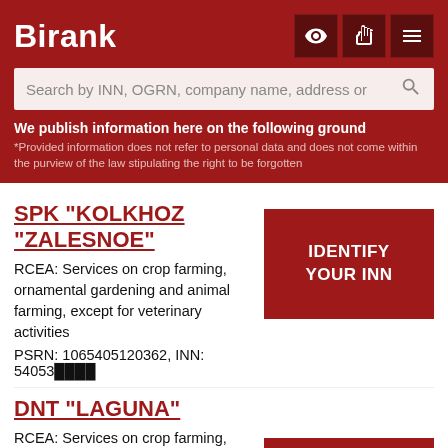Birank
Search by INN, OGRN, company name, address or
We publish information here on the following ground
*Provided information does not refer to personal data and does not come within the purview of the law stipulating the right to be forgotten
SPK "KOLKHOZ "ZALESNOE"
RCEA: Services on crop farming, ornamental gardening and animal farming, except for veterinary activities
PSRN: 1065405120362, INN: 54053
IDENTIFY YOUR INN
DNT "LAGUNA"
RCEA: Services on crop farming, ornamental gardening and animal farming, except for veterinary
PSRN: 1095410004513, INN: 54100
CALLBACK